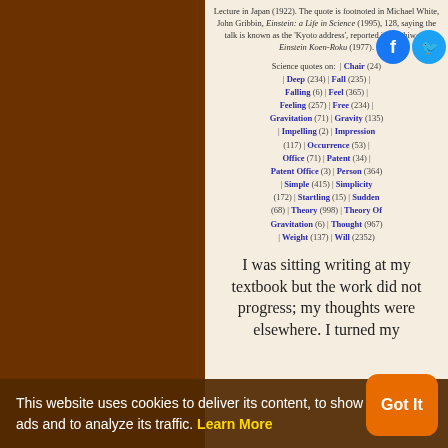Lecture in Japan (1922). The quote is footnoted in Michael White, John Gribbin, Einstein: a Life in Science (1995), 128, saying the talk is known as the 'Kyoto address', reported in J. Ishiwara, Einstein Koen-Roku (1977).
Science quotes on: | Chair (24) | Deep (234) | Fall (235) | Falling (6) | Feel (365) | Feeling (257) | Free (234) | Gravitation (71) | Gravity (135) | Impelling (2) | Impression (117) | Occurrence (53) | Office (71) | Patent (34) | Patent Office (3) | Person (364) | Simple (415) | Simplicity (172) | Startling (15) | Sudden (68) | Theory (998) | Theory Of Gravitation (6) | Thought (967) | Weight (137) | Will (2352)
I was sitting writing at my textbook but the work did not progress; my thoughts were elsewhere. I turned my
This website uses cookies to deliver its content, to show relevant ads and to analyze its traffic. Learn More